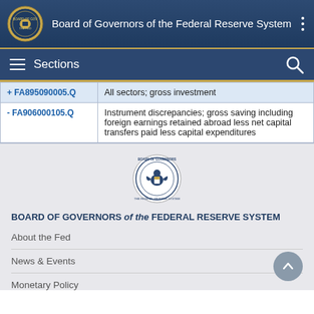Board of Governors of the Federal Reserve System
Sections
| Code | Description |
| --- | --- |
| + FA895090005.Q | All sectors; gross investment |
| - FA906000105.Q | Instrument discrepancies; gross saving including foreign earnings retained abroad less net capital transfers paid less capital expenditures |
[Figure (logo): Federal Reserve System seal/emblem in footer]
BOARD OF GOVERNORS of the FEDERAL RESERVE SYSTEM
About the Fed
News & Events
Monetary Policy